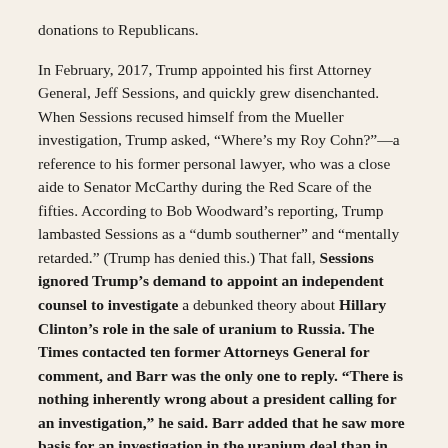donations to Republicans.
In February, 2017, Trump appointed his first Attorney General, Jeff Sessions, and quickly grew disenchanted. When Sessions recused himself from the Mueller investigation, Trump asked, “Where’s my Roy Cohn?”—a reference to his former personal lawyer, who was a close aide to Senator McCarthy during the Red Scare of the fifties. According to Bob Woodward’s reporting, Trump lambasted Sessions as a “dumb southerner” and “mentally retarded.” (Trump has denied this.) That fall, Sessions ignored Trump’s demand to appoint an independent counsel to investigate a debunked theory about Hillary Clinton’s role in the sale of uranium to Russia. The Times contacted ten former Attorneys General for comment, and Barr was the only one to reply. “There is nothing inherently wrong about a president calling for an investigation,” he said. Barr added that he saw more basis for an investigation in the uranium deal than in any supposed collusion between Trump and Russia. “To